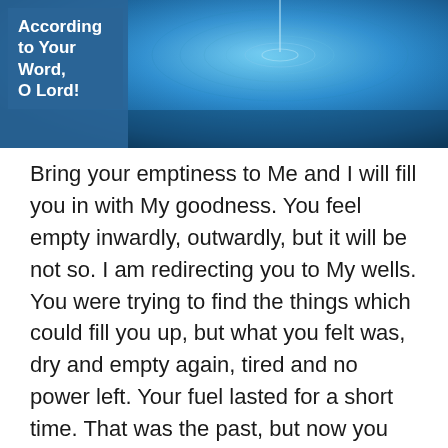[Figure (photo): Header image showing water ripples/droplets with a blue teal color. Overlaid on the left is a blue rectangle with white bold text reading 'According to Your Word, O Lord!']
Bring your emptiness to Me and I will fill you in with My goodness. You feel empty inwardly, outwardly, but it will be not so. I am redirecting you to My wells. You were trying to find the things which could fill you up, but what you felt was, dry and empty again, tired and no power left. Your fuel lasted for a short time. That was the past, but now you will outrun time and not be weary.
I am filling you up with My fuel and you will be on the road again. This time not like previous times. This time, you will run and